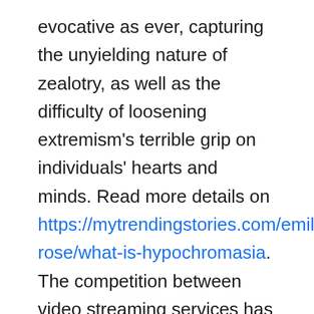evocative as ever, capturing the unyielding nature of zealotry, as well as the difficulty of loosening extremism's terrible grip on individuals' hearts and minds. Read more details on https://mytrendingstories.com/emily-rose/what-is-hypochromasia. The competition between video streaming services has never been tougher, so some media companies are banding together. For instance, CBS and Viacom merged (again) and launched Paramount+. AT&T announced plans to merge WarnerMedia with Discovery to form a new streaming giant. Amazon is reportedly buying MGM for $9 billion, too, which should considerably boost Prime Video's library. The increasingly competitive streaming landscape, with at...